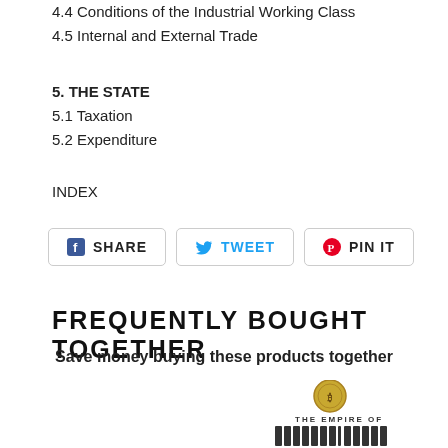4.4 Conditions of the Industrial Working Class
4.5 Internal and External Trade
5. THE STATE
5.1 Taxation
5.2 Expenditure
INDEX
[Figure (other): Social sharing buttons: SHARE (Facebook), TWEET (Twitter), PIN IT (Pinterest)]
FREQUENTLY BOUGHT TOGETHER
Save money buying these products together
[Figure (photo): Partial book cover image showing 'The Empire of Capital' with a gold coin/seal at the top]